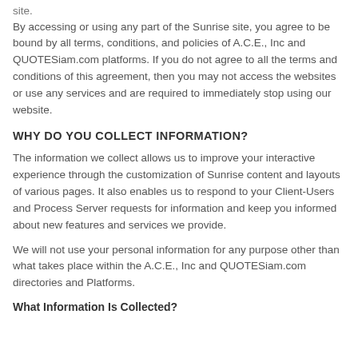site.
By accessing or using any part of the Sunrise site, you agree to be bound by all terms, conditions, and policies of A.C.E., Inc and QUOTESiam.com platforms. If you do not agree to all the terms and conditions of this agreement, then you may not access the websites or use any services and are required to immediately stop using our website.
WHY DO YOU COLLECT INFORMATION?
The information we collect allows us to improve your interactive experience through the customization of Sunrise content and layouts of various pages. It also enables us to respond to your Client-Users and Process Server requests for information and keep you informed about new features and services we provide.
We will not use your personal information for any purpose other than what takes place within the A.C.E., Inc and QUOTESiam.com directories and Platforms.
What Information Is Collected?